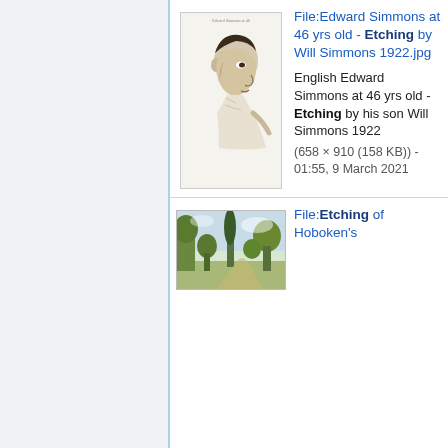[Figure (illustration): Etching portrait of a man in profile view, looking left, with short dark hair, wearing a light shirt or jacket]
File:Edward Simmons at 46 yrs old - Etching by Will Simmons 1922.jpg
English Edward Simmons at 46 yrs old - Etching by his son Will Simmons 1922
(658 × 910 (158 KB)) - 01:55, 9 March 2021
[Figure (illustration): Etching of a landscape with trees, possibly Hoboken's park or garden scene]
File:Etching of Hoboken's